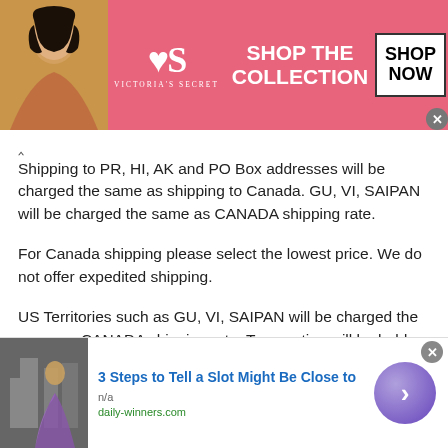[Figure (screenshot): Victoria's Secret advertisement banner with pink background, model photo, VS logo, 'SHOP THE COLLECTION' text, and 'SHOP NOW' button]
Shipping to PR, HI, AK and PO Box addresses will be charged the same as shipping to Canada. GU, VI, SAIPAN will be charged the same as CANADA shipping rate.
For Canada shipping please select the lowest price. We do not offer expedited shipping.
US Territories such as GU, VI, SAIPAN will be charged the same as CANADA shipping rate. Transaction will be held until a full shipping amount received.
Some of the packages cannot be delivered to a PO Box.
[Figure (screenshot): Bottom advertisement: '3 Steps to Tell a Slot Might Be Close to' with thumbnail image, n/a label, daily-winners.com source, and purple arrow button]